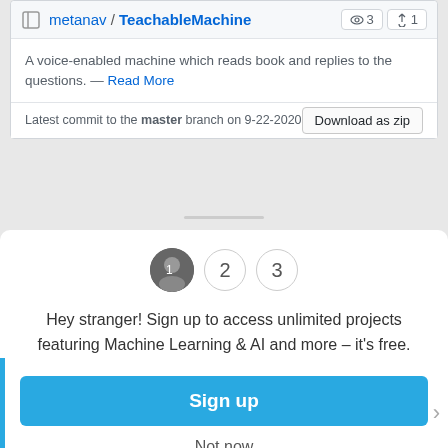Repository
metanav / TeachableMachine  👁3  𝗙1
A voice-enabled machine which reads book and replies to the questions. — Read More
Latest commit to the master branch on 9-22-2020
Download as zip
[Figure (screenshot): Step indicators: avatar circle (step 1), circle with '2', circle with '3']
Hey stranger! Sign up to access unlimited projects featuring Machine Learning & AI and more – it's free.
Sign up
Not now